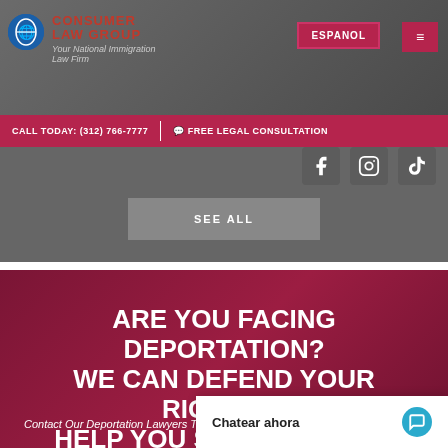Consumer Law Group — Your National Immigration Law Firm
ESPANOL
CALL TODAY: (312) 766-7777 | FREE LEGAL CONSULTATION
[Figure (other): Social media icons: Facebook, Instagram, TikTok]
SEE ALL
ARE YOU FACING DEPORTATION? WE CAN DEFEND YOUR RIGHTS & HELP YOU STAY IN THE US
Contact Our Deportation Lawyers Today for Help Building Your
Chatear ahora